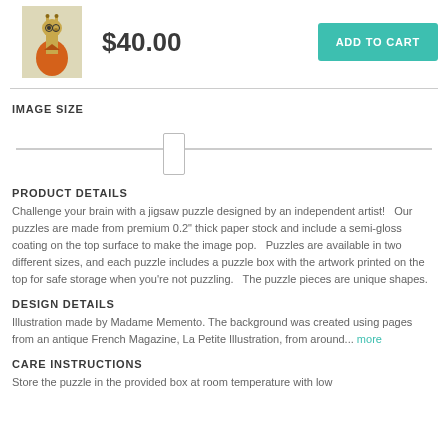[Figure (photo): Small product thumbnail image of a giraffe illustration wearing an orange jacket]
$40.00
ADD TO CART
IMAGE SIZE
[Figure (other): Image size slider control with a thumb in the middle]
PRODUCT DETAILS
Challenge your brain with a jigsaw puzzle designed by an independent artist!   Our puzzles are made from premium 0.2" thick paper stock and include a semi-gloss coating on the top surface to make the image pop.   Puzzles are available in two different sizes, and each puzzle includes a puzzle box with the artwork printed on the top for safe storage when you're not puzzling.   The puzzle pieces are unique shapes.
DESIGN DETAILS
Illustration made by Madame Memento. The background was created using pages from an antique French Magazine, La Petite Illustration, from around... more
CARE INSTRUCTIONS
Store the puzzle in the provided box at room temperature with low...